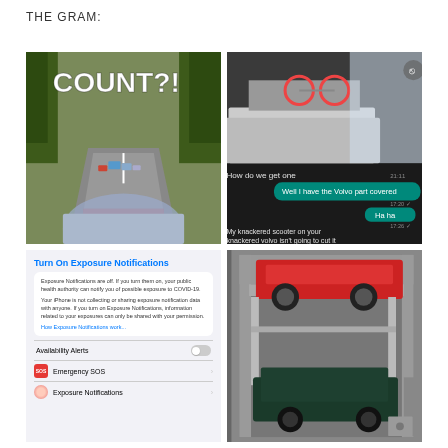THE GRAM:
[Figure (photo): Road scene viewed from inside a car, showing a convoy of classic cars ahead on a rural road with trees on either side. Bold white text overlay reads 'COUNT?!']
[Figure (screenshot): WhatsApp chat screenshot showing a photo of a Volvo estate car with a bicycle on the roof rack in snowy conditions. Chat messages: 'How do we get one', 'Well I have the Volvo part covered', 'Ha ha', 'My knackered scooter on your knackered volvo isn't going to cut it']
[Figure (screenshot): iPhone settings screenshot showing 'Turn On Exposure Notifications' panel with text about COVID-19 exposure notifications being off, availability alerts toggle (off), Emergency SOS menu item, and Exposure Notifications menu item]
[Figure (photo): Garage storage lift showing a red sports car stacked on top of a dark green classic car inside a tall garage with car lift system]